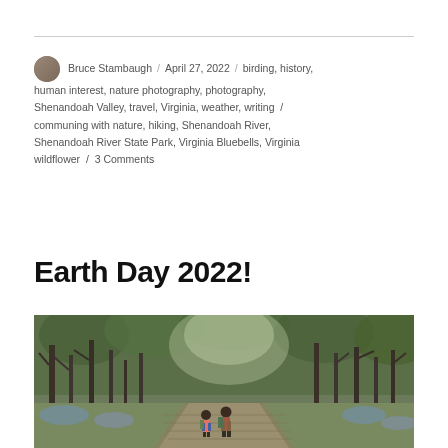Bruce Stambaugh / April 27, 2022 / birding, history, human interest, nature photography, photography, Shenandoah Valley, travel, Virginia, weather, writing / communing with nature, hiking, Shenandoah River, Shenandoah River State Park, Virginia Bluebells, Virginia wildflower / 3 Comments
Earth Day 2022!
[Figure (photo): Hikers walking along a wooded trail surrounded by bare-branched trees and spring greenery with bluebells visible on the forest floor]